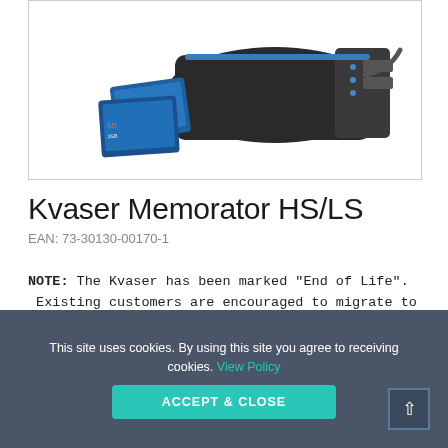[Figure (photo): Photo of Kvaser Memorator HS/LS hardware device — a dark grey logger unit with two blue SD/CF memory cards in front, on white background]
Kvaser Memorator HS/LS
EAN:  73-30130-00170-1
NOTE: The Kvaser has been marked "End of Life". Existing customers are encouraged to migrate to the Kvaser Memorator 2xHS v2 (73-30130-00821-2).
For more information, please contact us.
This site uses cookies. By using this site you agree to receiving cookies. View Policy
ACCEPT & CLOSE